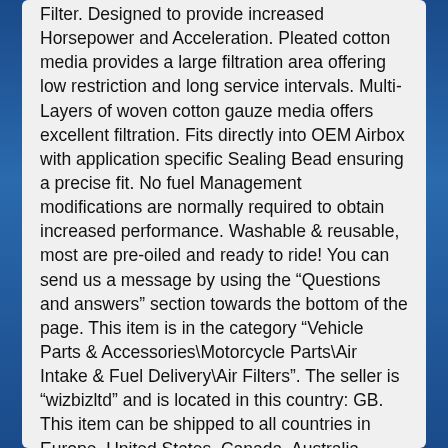Filter. Designed to provide increased Horsepower and Acceleration. Pleated cotton media provides a large filtration area offering low restriction and long service intervals. Multi-Layers of woven cotton gauze media offers excellent filtration. Fits directly into OEM Airbox with application specific Sealing Bead ensuring a precise fit. No fuel Management modifications are normally required to obtain increased performance. Washable & reusable, most are pre-oiled and ready to ride! You can send us a message by using the “Questions and answers” section towards the bottom of the page. This item is in the category “Vehicle Parts & Accessories\Motorcycle Parts\Air Intake & Fuel Delivery\Air Filters”. The seller is “wizbizltd” and is located in this country: GB. This item can be shipped to all countries in Europe, United States, Canada, Australia.
Manufacturer Part Number: PL-1115